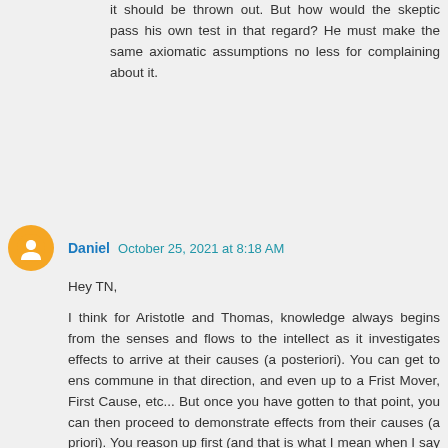it should be thrown out. But how would the skeptic pass his own test in that regard? He must make the same axiomatic assumptions no less for complaining about it.
Daniel  October 25, 2021 at 8:18 AM
Hey TN,
I think for Aristotle and Thomas, knowledge always begins from the senses and flows to the intellect as it investigates effects to arrive at their causes (a posteriori). You can get to ens commune in that direction, and even up to a Frist Mover, First Cause, etc... But once you have gotten to that point, you can then proceed to demonstrate effects from their causes (a priori). You reason up first (and that is what I mean when I say the natural sciences are epistemically first, then mathematics, then logic, then metaphysics...), then you can reason down in an a priori way.